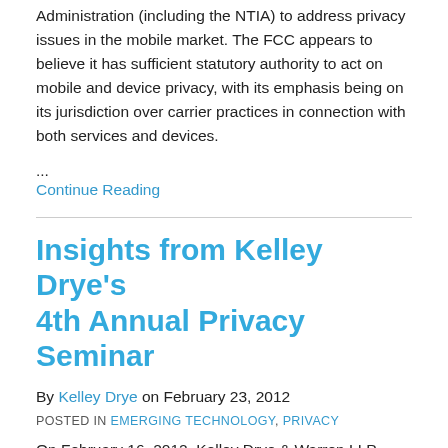Administration (including the NTIA) to address privacy issues in the mobile market. The FCC appears to believe it has sufficient statutory authority to act on mobile and device privacy, with its emphasis being on its jurisdiction over carrier practices in connection with both services and devices.
...
Continue Reading
Insights from Kelley Drye's 4th Annual Privacy Seminar
By Kelley Drye on February 23, 2012
POSTED IN EMERGING TECHNOLOGY, PRIVACY
On February 16, 2012, Kelley Drye & Warren LLP hosted